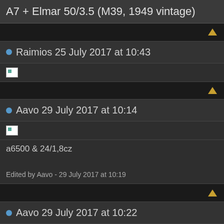A7 + Elmar 50/3.5 (M39, 1949 vintage)
Raimios 25 July 2017 at 10:43
Aavo 29 July 2017 at 10:14
a6500 & 24/1,8cz
Edited by Aavo - 29 July 2017 at 10:19
Aavo 29 July 2017 at 10:22